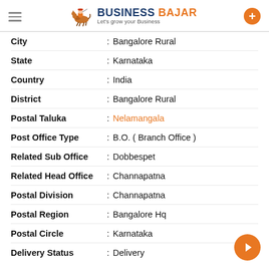BUSINESS BAJAR — Let's grow your Business
| Field | Value |
| --- | --- |
| City | Bangalore Rural |
| State | Karnataka |
| Country | India |
| District | Bangalore Rural |
| Postal Taluka | Nelamangala |
| Post Office Type | B.O. ( Branch Office ) |
| Related Sub Office | Dobbespet |
| Related Head Office | Channapatna |
| Postal Division | Channapatna |
| Postal Region | Bangalore Hq |
| Postal Circle | Karnataka |
| Delivery Status | Delivery |